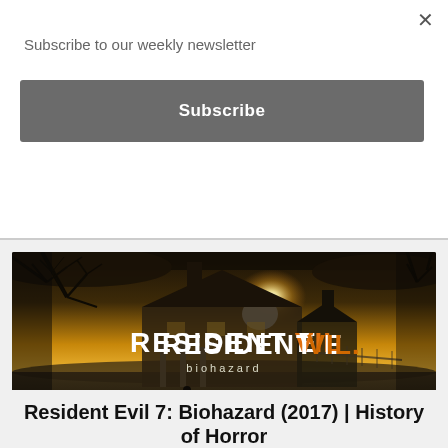Subscribe to our weekly newsletter
×
Subscribe
[Figure (screenshot): Resident Evil 7: Biohazard game cover art showing a dark, foggy backdrop of a southern plantation house at dusk with bare trees, a lone figure in the foreground, and the game title 'RESIDENT EVIL VII biohazard' displayed prominently in the center]
Resident Evil 7: Biohazard (2017) | History of Horror